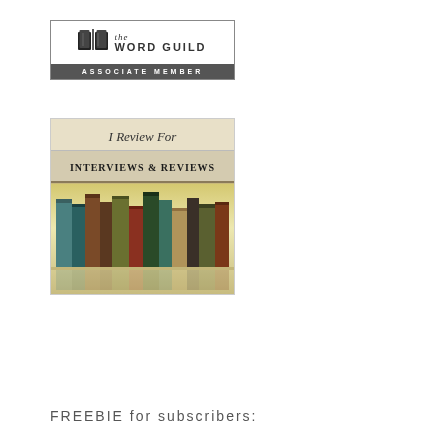[Figure (logo): The Word Guild Associate Member badge - a logo with an open book icon and text reading 'the WORD GUILD' with a grey bar at bottom reading 'ASSOCIATE MEMBER']
[Figure (logo): I Review For - Interviews & Reviews badge showing books on a shelf]
FREEBIE for subscribers: